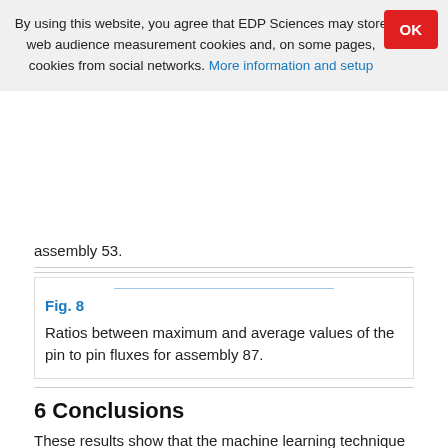By using this website, you agree that EDP Sciences may store web audience measurement cookies and, on some pages, cookies from social networks. More information and setup
assembly 53.
Fig. 8
Ratios between maximum and average values of the pin to pin fluxes for assembly 87.
6 Conclusions
These results show that the machine learning technique using SVR is able to reconstruct the pin to pin fluxes. From the data of the first nuclear reactor cycle, the learning parameters